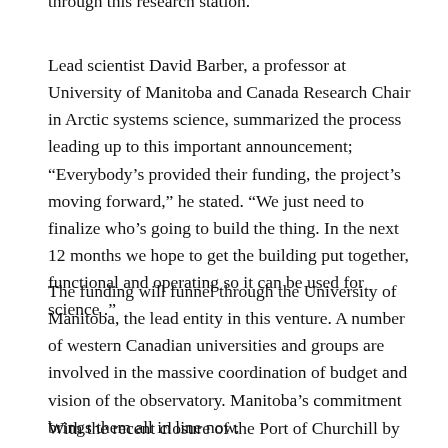through this research station.
Lead scientist David Barber, a professor at University of Manitoba and Canada Research Chair in Arctic systems science, summarized the process leading up to this important announcement; “Everybody’s provided their funding, the project’s moving forward,” he stated. “We just need to finalize who’s going to build the thing. In the next 12 months we hope to get the building put together, functional and operating so it can be used for science .”
The funding will funnel through the University of Manitoba, the lead entity in this venture. A number of western Canadian universities and groups are involved in the massive coordination of budget and vision of the observatory. Manitoba’s commitment brings them all in line now.
With the recent closure of the Port of Churchill by US based Omnitrax, this announcement is a move in the